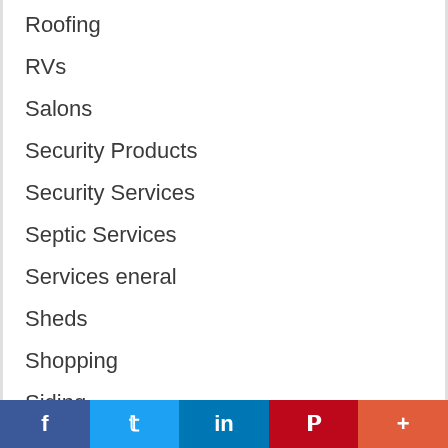Roofing
RVs
Salons
Security Products
Security Services
Septic Services
Services eneral
Sheds
Shopping
Siding
Small Engine Repair
Snow Removal
Social Media Services
Special Events